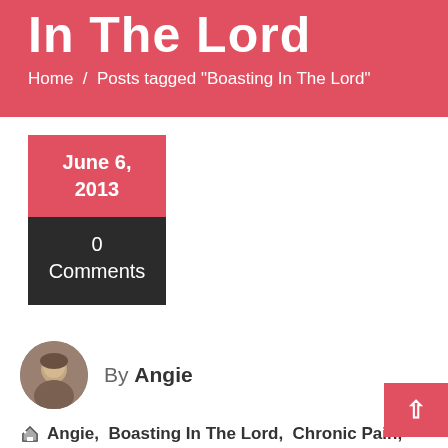In The Lord
Home / Posts tagged "Boasting In The Lord"
June 6, 2013
0 Comments
By Angie
Angie, Boasting In The Lord, Chronic Pain, Fibromyalgia, Future.Flying.Saucers, Healing, Vitamin D Deficiency